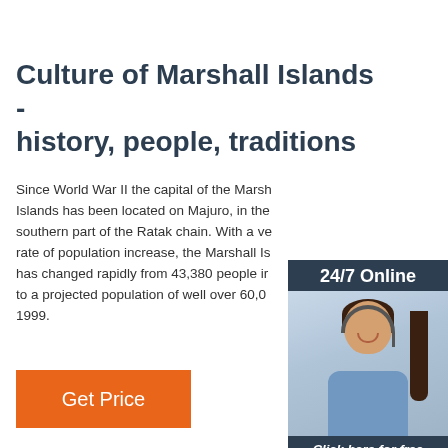Culture of Marshall Islands - history, people, traditions
Since World War II the capital of the Marshall Islands has been located on Majuro, in the southern part of the Ratak chain. With a very high rate of population increase, the Marshall Islands has changed rapidly from 43,380 people in to a projected population of well over 60,000 in 1999.
[Figure (infographic): Online chat widget showing a woman with headset, '24/7 Online' header, 'Click here for free chat!' text, and orange QUOTATION button]
Get Price